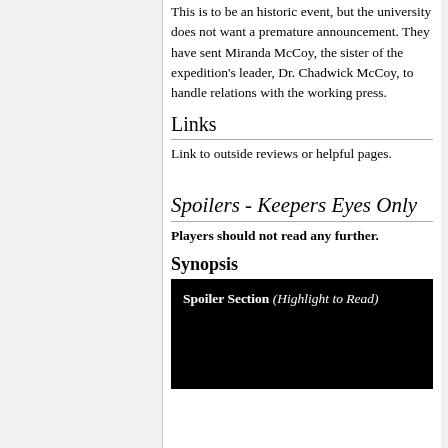This is to be an historic event, but the university does not want a premature announcement. They have sent Miranda McCoy, the sister of the expedition's leader, Dr. Chadwick McCoy, to handle relations with the working press.
Links
Link to outside reviews or helpful pages.
Spoilers - Keepers Eyes Only
Players should not read any further.
Synopsis
Spoiler Section (Highlight to Read)